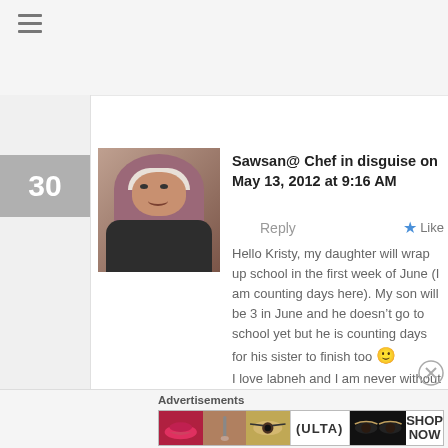[Figure (screenshot): Hamburger menu icon (three horizontal lines) in top left corner]
30
[Figure (photo): Profile photo of a woman wearing a hijab]
Sawsan@ Chef in disguise on May 13, 2012 at 9:16 AM
Reply
Like
Hello Kristy, my daughter will wrap up school in the first week of June (I am counting days here). My son will be 3 in June and he doesn't go to school yet but he is counting days for his sister to finish too 🙂 I love labneh and I am never without some labneh be it balls or dip. I hope you'll give this a try and maybe the taste will refresh your memory 🙂
Advertisements
[Figure (screenshot): ULTA beauty advertisement banner showing makeup imagery and Shop Now button]